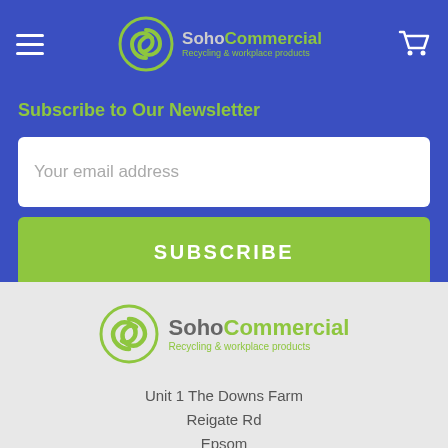SohoCommercial - Recycling & workplace products
Subscribe to Our Newsletter
Your email address
SUBSCRIBE
[Figure (logo): SohoCommercial logo with green swirl icon and text 'SohoCommercial Recycling & workplace products']
Unit 1 The Downs Farm
Reigate Rd
Epsom
Surrey